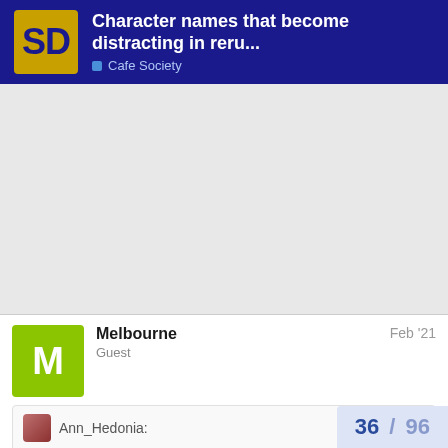Character names that become distracting in reru... — Cafe Society
Melbourne
Guest
Feb '21
Ann_Hedonia:
Once, I read a detective novel where the star detective had the same name, first and last, as my father. And it's not a common name.
36 / 96